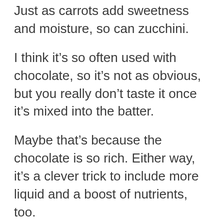Just as carrots add sweetness and moisture, so can zucchini.
I think it’s so often used with chocolate, so it’s not as obvious, but you really don’t taste it once it’s mixed into the batter.
Maybe that’s because the chocolate is so rich. Either way, it’s a clever trick to include more liquid and a boost of nutrients, too.
You’ll use almond flour again here, so don’t expect these to be super light and fluffy.